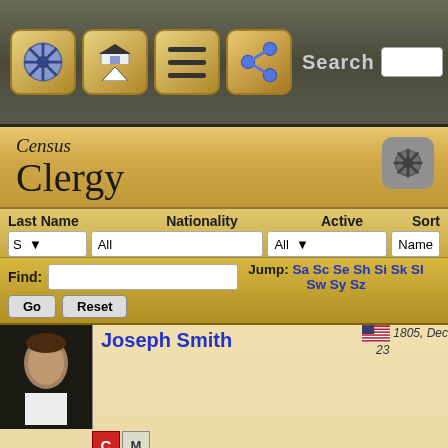[Figure (screenshot): App toolbar with navigation icons: wheel, home/up, menu, share buttons, and Search bar]
Census
Clergy
| Last Name | Nationality | Active | Sort |
| --- | --- | --- | --- |
| S ▾ | All | All ▾ | Name |
Find:  [input]  Jump: Sa Sc Se Sh Si Sk Sl  Sw Sy Sz
Go  Reset
Joseph Smith  🇺🇸  1805, Dec 23
an American religious leader and founder of Mormonism and the Latter Day Saint movement. When he was twenty-four, Smith published the Book of Mormon; by the time of his death fourteen years later, he had attracted thousands of followers and founded a religious culture that continues to the present. Smith moved away from written revelations open...
Timeline (9)   Links (15)
Cross-listed in Writers
Richard Smith  born